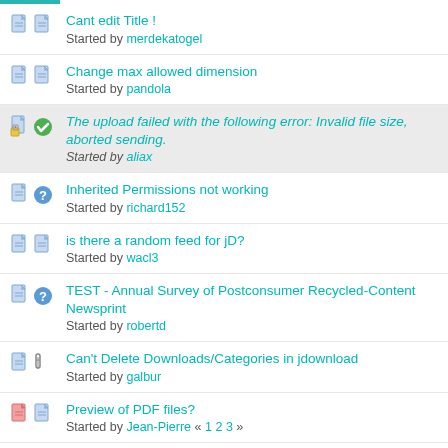Cant edit Title ! Started by merdekatogel
Change max allowed dimension Started by pandola
The upload failed with the following error: Invalid file size, aborted sending. Started by aliax
Inherited Permissions not working Started by richard152
is there a random feed for jD? Started by wacl3
TEST - Annual Survey of Postconsumer Recycled-Content Newsprint Started by robertd
Can't Delete Downloads/Categories in jdownload Started by galbur
Preview of PDF files? Started by Jean-Pierre « 1 2 3 »
pasting in front end Started by wacl3